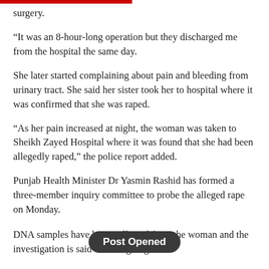surgery.
“It was an 8-hour-long operation but they discharged me from the hospital the same day.
She later started complaining about pain and bleeding from urinary tract. She said her sister took her to hospital where it was confirmed that she was raped.
“As her pain increased at night, the woman was taken to Sheikh Zayed Hospital where it was found that she had been allegedly raped,” the police report added.
Punjab Health Minister Dr Yasmin Rashid has formed a three-member inquiry committee to probe the alleged rape on Monday.
DNA samples have been collected from the woman and the investigation is said to be ongoing.